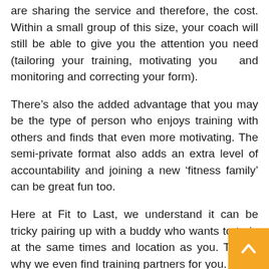are sharing the service and therefore, the cost. Within a small group of this size, your coach will still be able to give you the attention you need (tailoring your training, motivating you and monitoring and correcting your form).
There’s also the added advantage that you may be the type of person who enjoys training with others and finds that even more motivating. The semi-private format also adds an extra level of accountability and joining a new ‘fitness family’ can be great fun too.
Here at Fit to Last, we understand it can be tricky pairing up with a buddy who wants to train at the same times and location as you. This is why we even find training partners for you. If you have a buddy that you’d like to train with, that’s pos too.